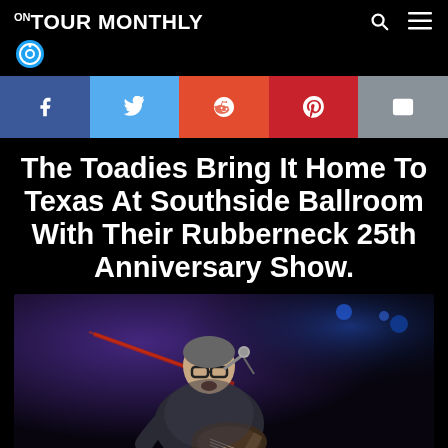ON TOUR MONTHLY
[Figure (infographic): Social sharing buttons row: Facebook (blue), Twitter (light blue), Reddit (orange-red), Pinterest (dark red), Email (grey)]
The Toadies Bring It Home To Texas At Southside Ballroom With Their Rubberneck 25th Anniversary Show.
[Figure (photo): Concert photo of a male vocalist/guitarist with glasses, singing into a microphone and playing guitar on a stage lit with blue and purple lights]